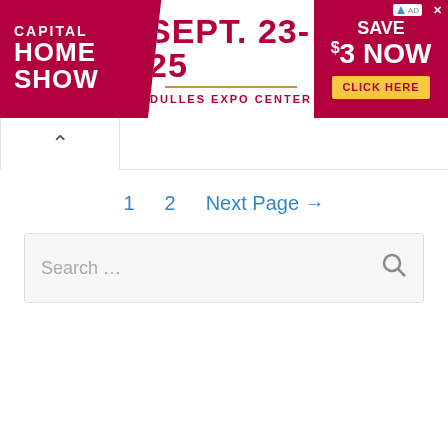[Figure (illustration): Capital Home Show advertisement banner. Red background with white text on left reading 'CAPITAL HOME SHOW'. Center white section reads 'SEPT. 23-25' in red with 'DULLES EXPO CENTER' below. Right red section reads 'SAVE $3 NOW' with a yellow 'CLICK HERE' button. Small ad label and close X in top right corner.]
^
1   2   Next Page →
Search ...
Recent Posts